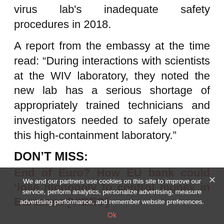virus lab's inadequate safety procedures in 2018.
A report from the embassy at the time read: “During interactions with scientists at the WIV laboratory, they noted the new lab has a serious shortage of appropriately trained technicians and investigators needed to safely operate this high-containment laboratory.”
DON’T MISS:
End of Euro? How EU bank could ‘lose monopoly to control money in Eurozone [VIDEO]
We and our partners use cookies on this site to improve our service, perform analytics, personalize advertising, measure advertising performance, and remember website preferences.